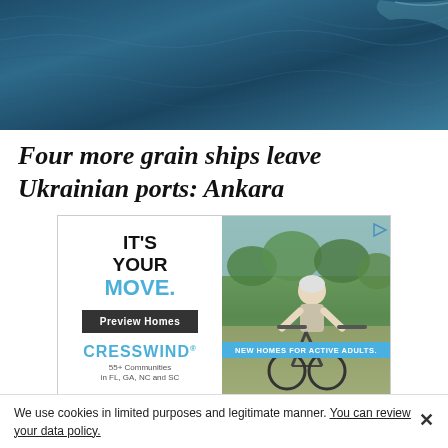[Figure (photo): Aerial view of dark blue ocean water with waves]
Four more grain ships leave Ukrainian ports: Ankara
[Figure (illustration): Advertisement: IT'S YOUR MOVE. Preview Homes. CRESSWIND 55+ Communities. NEW HOMES FOR ACTIVE ADULTS. Shows a man riding a bicycle.]
We use cookies in limited purposes and legitimate manner. You can review your data policy.